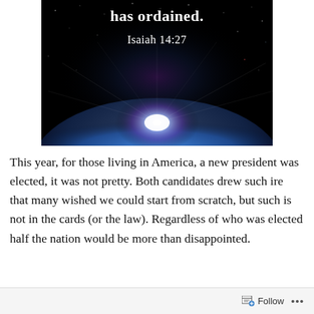[Figure (illustration): Black background space image showing a glowing planet horizon with blue atmospheric arc and bright star/sun burst of light in purple, blue and white colors. White text overlaid reads 'has ordained.' and 'Isaiah 14:27']
This year, for those living in America, a new president was elected, it was not pretty. Both candidates drew such ire that many wished we could start from scratch, but such is not in the cards (or the law). Regardless of who was elected half the nation would be more than disappointed.
Follow ...